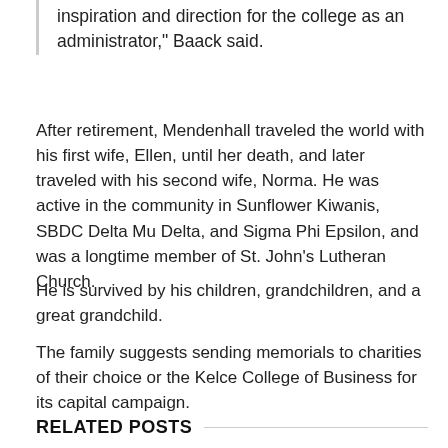inspiration and direction for the college as an administrator," Baack said.
After retirement, Mendenhall traveled the world with his first wife, Ellen, until her death, and later traveled with his second wife, Norma. He was active in the community in Sunflower Kiwanis, SBDC Delta Mu Delta, and Sigma Phi Epsilon, and was a longtime member of St. John's Lutheran Church.
He is survived by his children, grandchildren, and a great grandchild.
The family suggests sending memorials to charities of their choice or the Kelce College of Business for its capital campaign.
RELATED POSTS